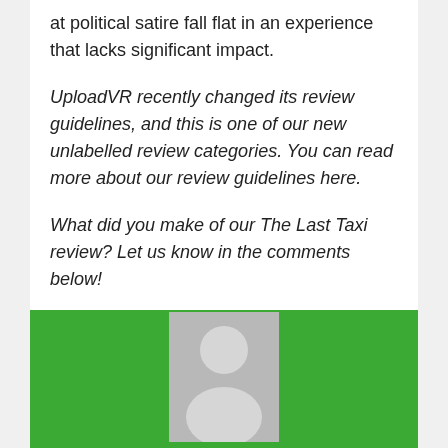at political satire fall flat in an experience that lacks significant impact.
UploadVR recently changed its review guidelines, and this is one of our new unlabelled review categories. You can read more about our review guidelines here.
What did you make of our The Last Taxi review? Let us know in the comments below!
[Figure (illustration): Generic user avatar placeholder on a green background — a grey rectangle containing a white silhouette of a person (circular head and rounded torso).]